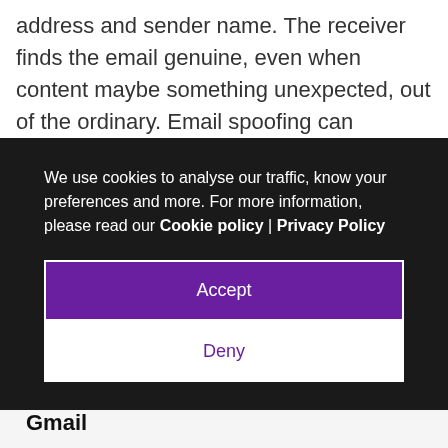address and sender name. The receiver finds the email genuine, even when content maybe something unexpected, out of the ordinary. Email spoofing can
We use cookies to analyse our traffic, know your preferences and more. For more information, please read our Cookie policy | Privacy Policy
Accept
Deny
Now, how to spot them?
Spotting spoofed Emails in Gmail